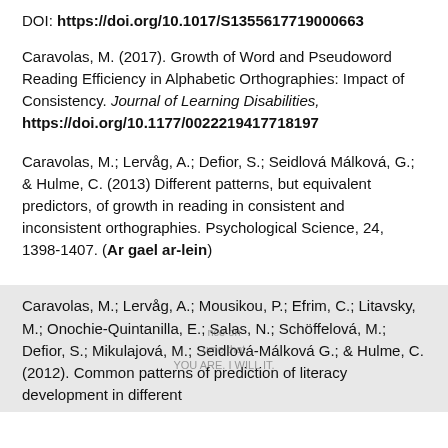DOI: https://doi.org/10.1017/S1355617719000663
Caravolas, M. (2017). Growth of Word and Pseudoword Reading Efficiency in Alphabetic Orthographies: Impact of Consistency. Journal of Learning Disabilities, https://doi.org/10.1177/0022219417718197
Caravolas, M.; Lervåg, A.; Defior, S.; Seidlová Málková, G.; & Hulme, C. (2013) Different patterns, but equivalent predictors, of growth in reading in consistent and inconsistent orthographies. Psychological Science, 24, 1398-1407. (Ar gael ar-lein)
Caravolas, M.; Lervåg, A.; Mousikou, P.; Efrim, C.; Litavsky, M.; Onochie-Quintanilla, E.; Salas, N.; Schöffelová, M.; Defior, S.; Mikulajová, M.; Seidlová-Málková G.; & Hulme, C. (2012). Common patterns of prediction of literacy development in different alphabetic orthographies.